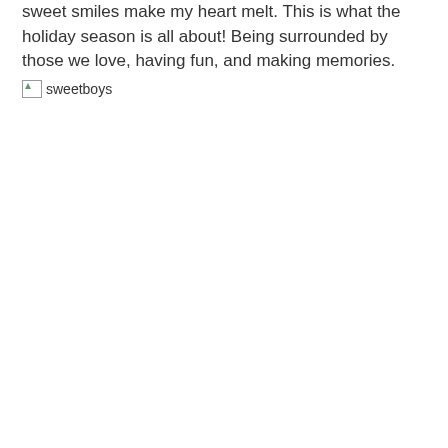sweet smiles make my heart melt. This is what the holiday season is all about! Being surrounded by those we love, having fun, and making memories.
[Figure (photo): Broken image placeholder with alt text 'sweetboys']